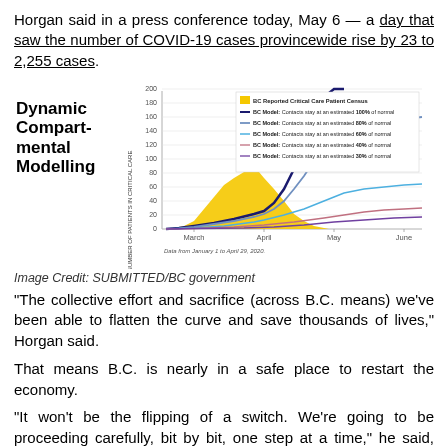Horgan said in a press conference today, May 6 — a day that saw the number of COVID-19 cases provincewide rise by 23 to 2,255 cases.
[Figure (line-chart): Multi-series line chart showing BC Model projections at 100%, 80%, 60%, 40%, 30% of normal contacts, plus BC Reported Critical Care Patient Census (yellow area). Data from January 1 to April 29, 2020. Y-axis 0-200, x-axis March to June.]
Image Credit: SUBMITTED/BC government
“The collective effort and sacrifice (across B.C. means) we’ve been able to flatten the curve and save thousands of lives,” Horgan said.
That means B.C. is nearly in a safe place to restart the economy.
“It won’t be the flipping of a switch. We’re going to be proceeding carefully, bit by bit, one step at a time,” he said, noting later that provincial parks will open May 14 while specific businesses that have an approved plan will start to open May 19.